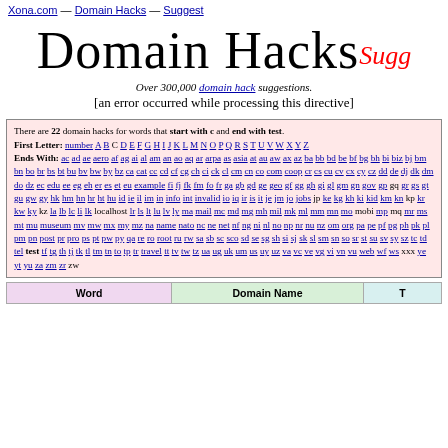Xona.com — Domain Hacks — Suggest
Domain Hacks Suggest
Over 300,000 domain hack suggestions.
[an error occurred while processing this directive]
There are 22 domain hacks for words that start with c and end with test. First Letter: number A B C D E F G H I J K L M N O P Q R S T U V W X Y Z Ends With: ac ad ae aero af ag ai al am an ao aq ar arpa as asia at au aw ax az ba bb bd be bf bg bh bi biz bj bm bn bo br bs bt bu bv bw by bz ca cat cc cd cf cg ch ci ck cl cm cn co com coop cr cs cu cv cx cy cz dd de dj dk dm do dz ec edu ee eg eh er es et eu example fi fj fk fm fo fr ga gb gd ge geo gf gg gh gi gl gm gn gov gp gq gr gs gt gu gw gy hk hm hn hr ht hu id ie il im in info int invalid io iq ir is it je jm jo jobs jp ke kg kh ki kid km kn kp kr kw ky kz la lb lc li lk localhost lr ls lt lu lv ly ma mail mc md mg mh mil mk ml mm mn mo mobi mp mq mr ms mt mu museum mv mw mx my mz na name nato nc ne net nf ng ni nl no np nr nu nz om org pa pe pf pg ph pk pl pm pn post pr pro ps pt pw py qa re ro root ru rw sa sb sc sco sd se sg sh si sj sk sl sm sn so sr st su sv sy sz tc td tel test tf tg th tj tk tl tm tn to tp tr travel tt tv tw tz ua ug uk um us uy uz va vc ve vg vi vn vu web wf ws xxx ye yt yu za zm zr zw
| Word | Domain Name | T |
| --- | --- | --- |